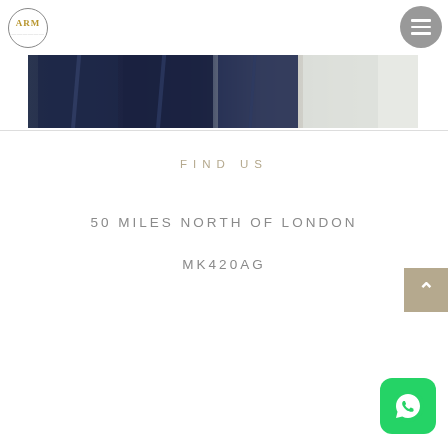[Figure (logo): ARM logo — circular badge with letters ARM and decorative border]
[Figure (photo): Cropped lower-body photo of people in dark suits and a white garment/shirt, showing a tailoring/fashion context]
FIND US
50 MILES NORTH OF LONDON
MK420AG